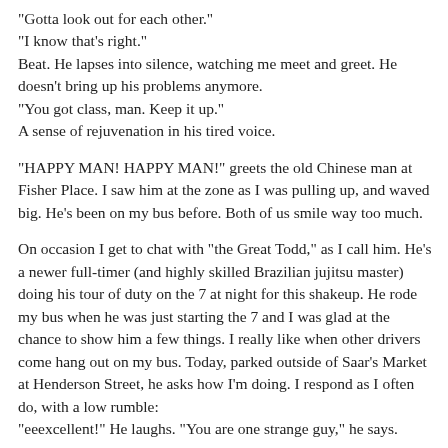"Gotta look out for each other."
"I know that's right."
Beat. He lapses into silence, watching me meet and greet. He doesn't bring up his problems anymore.
"You got class, man. Keep it up."
A sense of rejuvenation in his tired voice.
"HAPPY MAN! HAPPY MAN!" greets the old Chinese man at Fisher Place. I saw him at the zone as I was pulling up, and waved big. He's been on my bus before. Both of us smile way too much.
On occasion I get to chat with "the Great Todd," as I call him. He's a newer full-timer (and highly skilled Brazilian jujitsu master) doing his tour of duty on the 7 at night for this shakeup. He rode my bus when he was just starting the 7 and I was glad at the chance to show him a few things. I really like when other drivers come hang out on my bus. Today, parked outside of Saar's Market at Henderson Street, he asks how I'm doing. I respond as I often do, with a low rumble:
"eeexcellent!" He laughs. "You are one strange guy," he says.
[Figure (other): Social media buttons: a blue Facebook Like button showing '0' likes and a blue Twitter Tweet button]